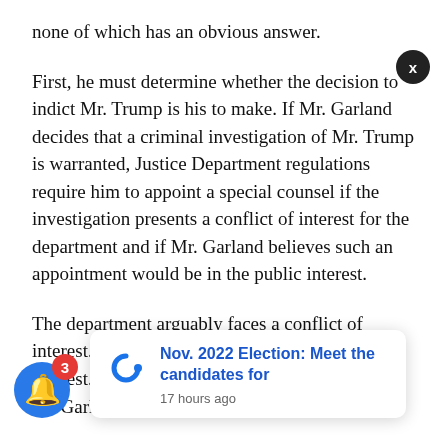none of which has an obvious answer.
First, he must determine whether the decision to indict Mr. Trump is his to make. If Mr. Garland decides that a criminal investigation of Mr. Trump is warranted, Justice Department regulations require him to appoint a special counsel if the investigation presents a conflict of interest for the department and if Mr. Garland believes such an appointment would be in the public interest.
The department arguably faces a conflict of interest. Mr. Garland... Trump is also Mr. Biden's likeliest political opponent in the 2024 presidential election
[Figure (screenshot): A browser notification popup with the updatem logo showing 'Nov. 2022 Election: Meet the candidates for' with timestamp '17 hours ago', alongside a blue bell notification icon with a red badge showing '3', and a dark X close button.]